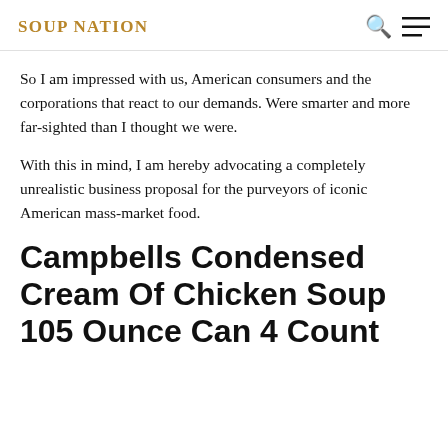SOUP NATION
So I am impressed with us, American consumers and the corporations that react to our demands. Were smarter and more far-sighted than I thought we were.
With this in mind, I am hereby advocating a completely unrealistic business proposal for the purveyors of iconic American mass-market food.
Campbells Condensed Cream Of Chicken Soup 105 Ounce Can 4 Count